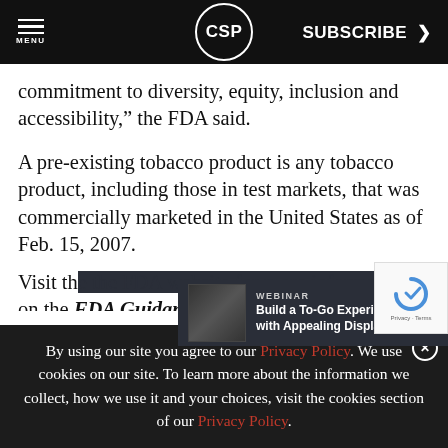MENU | CSP | SUBSCRIBE >
commitment to diversity, equity, inclusion and accessibility,” the FDA said.
A pre-existing tobacco product is any tobacco product, including those in test markets, that was commercially marketed in the United States as of Feb. 15, 2007.
Visit th[e] ... on the [FDA Guidance]
[Figure (screenshot): Ad banner: WEBINAR Build a To-Go Experience with Appealing Displays - ALTO-SHAAM]
By using our site you agree to our Privacy Policy. We use cookies on our site. To learn more about the information we collect, how we use it and your choices, visit the cookies section of our Privacy Policy.